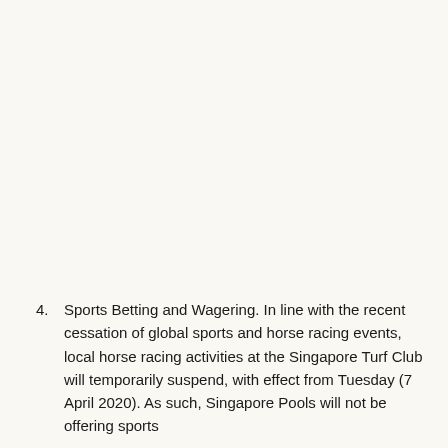4. Sports Betting and Wagering. In line with the recent cessation of global sports and horse racing events, local horse racing activities at the Singapore Turf Club will temporarily suspend, with effect from Tuesday (7 April 2020). As such, Singapore Pools will not be offering sports